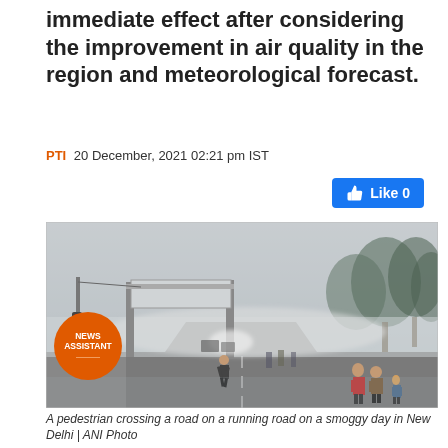immediate effect after considering the improvement in air quality in the region and meteorological forecast.
PTI 20 December, 2021 02:21 pm IST
[Figure (photo): A smoggy road scene in New Delhi showing pedestrians crossing and walking along a foggy road with vehicles visible in the distance. An orange circular 'NEWS ASSISTANT' badge overlaid at bottom-left.]
A pedestrian crossing a road on a running road on a smoggy day in New Delhi | ANI Photo